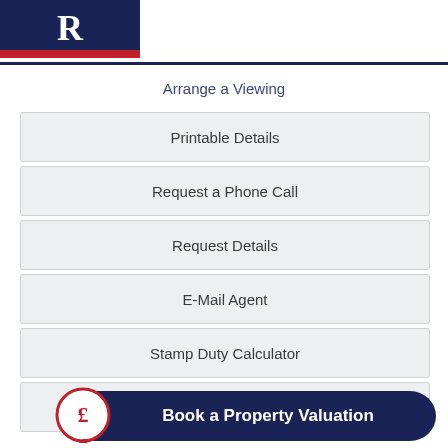[Figure (logo): Red and dark blue logo with letter R on dark blue background with red bar at bottom]
Arrange a Viewing
Printable Details
Request a Phone Call
Request Details
E-Mail Agent
Stamp Duty Calculator
Mortgage Calculator
[Figure (infographic): Book a Property Valuation button with pound sign speech bubble icon on dark navy rounded rectangle]